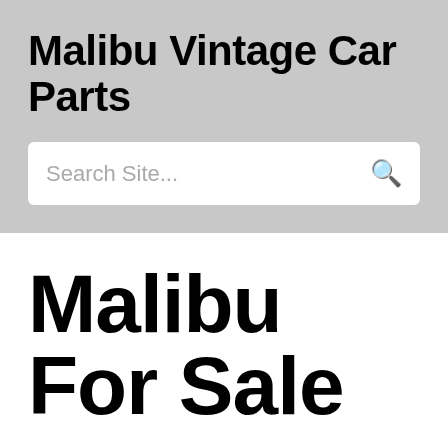Malibu Vintage Car Parts
Search Site...
Malibu For Sale